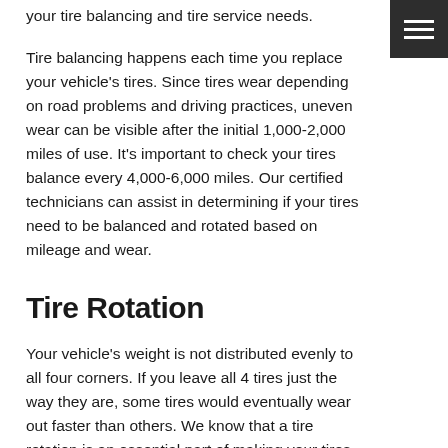your tire balancing and tire service needs.
Tire balancing happens each time you replace your vehicle's tires. Since tires wear depending on road problems and driving practices, uneven wear can be visible after the initial 1,000-2,000 miles of use. It's important to check your tires balance every 4,000-6,000 miles. Our certified technicians can assist in determining if your tires need to be balanced and rotated based on mileage and wear.
Tire Rotation
Your vehicle's weight is not distributed evenly to all four corners. If you leave all 4 tires just the way they are, some tires would eventually wear out faster than others. We know that a tire rotation is an essential part of making your tires last longer. The tire rotation process consists of moving your tires from front to back, moving them from one side of your vehicle